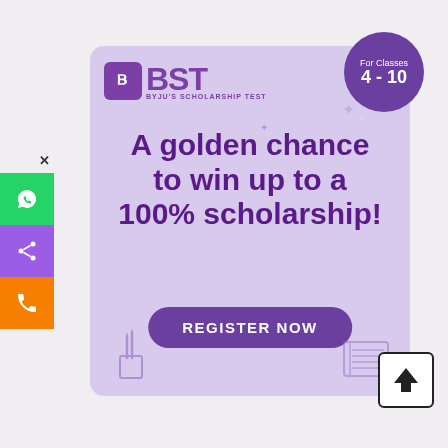[Figure (infographic): BYJU'S Scholarship Test (BST) advertisement. Light purple background card with BST logo, 'For Classes 4-10' badge in purple circle, main text 'A golden chance to win up to a 100% scholarship!', and a 'REGISTER NOW' button. Decorative pencil cup and notebook doodles at bottom corners. Left sidebar with WhatsApp, share, and phone icons. Up arrow box at bottom right.]